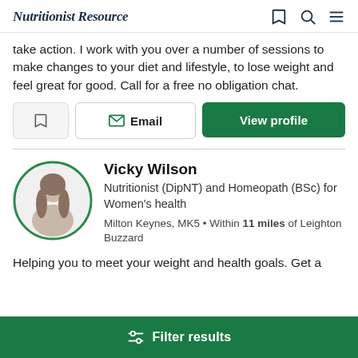Nutritionist Resource
take action. I work with you over a number of sessions to make changes to your diet and lifestyle, to lose weight and feel great for good. Call for a free no obligation chat.
Vicky Wilson
Nutritionist (DipNT) and Homeopath (BSc) for Women's health
Milton Keynes, MK5 • Within 11 miles of Leighton Buzzard
Helping you to meet your weight and health goals. Get a
Filter results